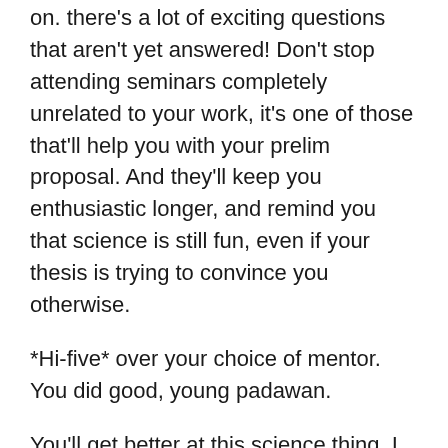on. there's a lot of exciting questions that aren't yet answered! Don't stop attending seminars completely unrelated to your work, it's one of those that'll help you with your prelim proposal. And they'll keep you enthusiastic longer, and remind you that science is still fun, even if your thesis is trying to convince you otherwise.
*Hi-five* over your choice of mentor. You did good, young padawan.
You'll get better at this science thing. I promise. Just keep going.
Good luck for the next few years, you're going to need it. And pass on some of that enthusiasm to me, won't you?